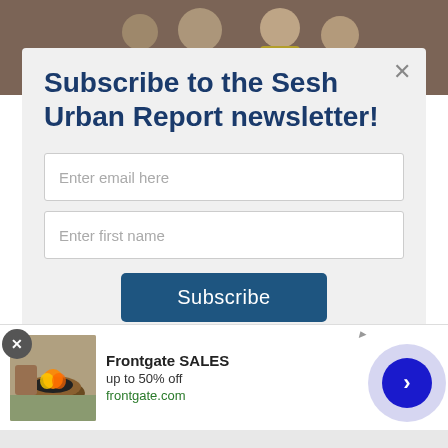[Figure (photo): Background photo of people at top of page, partially obscured by modal]
Subscribe to the Sesh Urban Report newsletter!
Enter email here
Enter first name
Subscribe
And don't worry, we hate spam too! You can unsubscribe at
[Figure (photo): Advertisement for Frontgate SALES showing outdoor furniture, up to 50% off, frontgate.com]